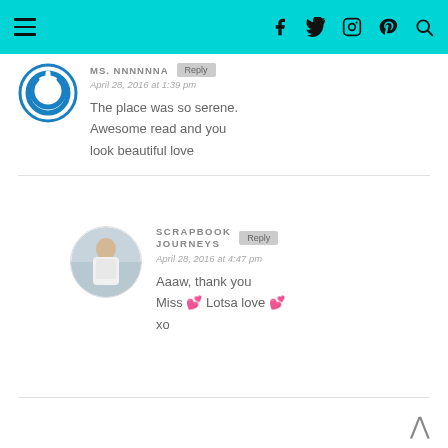Navigation bar with hamburger menu and social icons (Facebook, Twitter, Instagram, Pinterest, Search)
Ms. Nnnnnna
April 28, 2016 at 1:39 pm
The place was so serene. Awesome read and you look beautiful love
SCRAPBOOK JOURNEYS
April 28, 2016 at 4:47 pm
Aaaw, thank you Miss 💕 Lotsa love 💕 xo